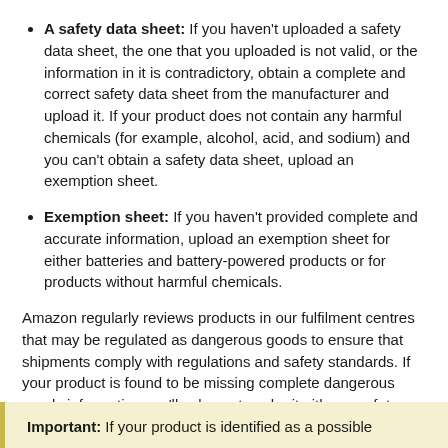A safety data sheet: If you haven't uploaded a safety data sheet, the one that you uploaded is not valid, or the information in it is contradictory, obtain a complete and correct safety data sheet from the manufacturer and upload it. If your product does not contain any harmful chemicals (for example, alcohol, acid, and sodium) and you can't obtain a safety data sheet, upload an exemption sheet.
Exemption sheet: If you haven't provided complete and accurate information, upload an exemption sheet for either batteries and battery-powered products or for products without harmful chemicals.
Amazon regularly reviews products in our fulfilment centres that may be regulated as dangerous goods to ensure that shipments comply with regulations and safety standards. If your product is found to be missing complete dangerous goods information, we'll ask you to submit either a safety data sheet or an exemption sheet.
Important: If your product is identified as a possible